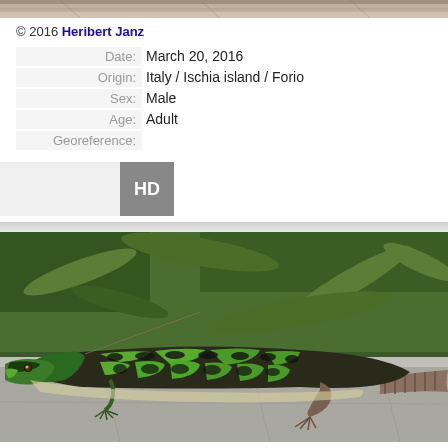[Figure (photo): Top portion of a photo showing rocky/stone surface with texture]
© 2016 Heribert Janz
| Date: | March 20, 2016 |
| Origin: | Italy / Ischia island / Forio |
| Sex: | Male |
| Age: | Adult |
| Georeference: |  |
[Figure (other): HD badge/icon in gray square]
[Figure (photo): Close-up photograph of a green and black patterned lizard (Podarcis sicula) resting on a gray stone surface with green plant foliage in the background]